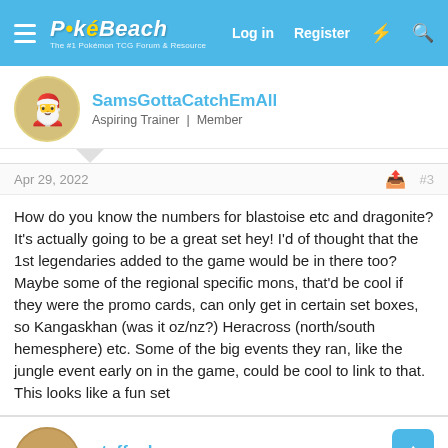PokéBeach — Log in   Register
SamsGottaCatchEmAll
Aspiring Trainer   Member
Apr 29, 2022   #3
How do you know the numbers for blastoise etc and dragonite? It's actually going to be a great set hey! I'd of thought that the 1st legendaries added to the game would be in there too? Maybe some of the regional specific mons, that'd be cool if they were the promo cards, can only get in certain set boxes, so Kangaskhan (was it oz/nz?) Heracross (north/south hemesphere) etc. Some of the big events they ran, like the jungle event early on in the game, could be cool to link to that. This looks like a fun set
steffenka
Miss Vaanjie   Member
Apr 29, 2022